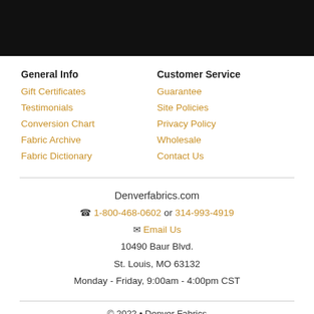[Figure (other): Black header bar image]
General Info
Gift Certificates
Testimonials
Conversion Chart
Fabric Archive
Fabric Dictionary
Customer Service
Guarantee
Site Policies
Privacy Policy
Wholesale
Contact Us
Denverfabrics.com
☎ 1-800-468-0602 or 314-993-4919
✉ Email Us
10490 Baur Blvd.
St. Louis, MO 63132
Monday - Friday, 9:00am - 4:00pm CST
© 2022 • Denver Fabrics